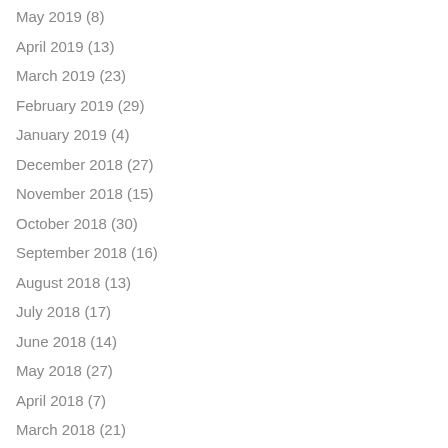May 2019 (8)
April 2019 (13)
March 2019 (23)
February 2019 (29)
January 2019 (4)
December 2018 (27)
November 2018 (15)
October 2018 (30)
September 2018 (16)
August 2018 (13)
July 2018 (17)
June 2018 (14)
May 2018 (27)
April 2018 (7)
March 2018 (21)